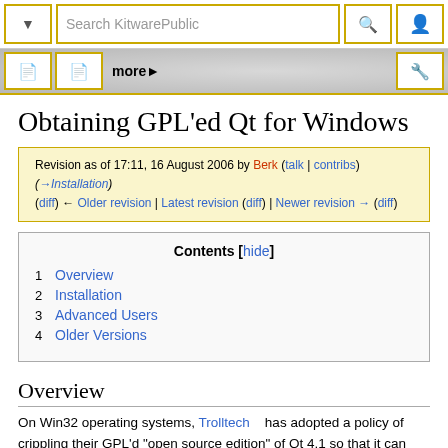Search KitwarePublic
Obtaining GPL'ed Qt for Windows
Revision as of 17:11, 16 August 2006 by Berk (talk | contribs) (→Installation)
(diff) ← Older revision | Latest revision (diff) | Newer revision → (diff)
Contents [hide]
1 Overview
2 Installation
3 Advanced Users
4 Older Versions
Overview
On Win32 operating systems, Trolltech has adopted a policy of crippling their GPL'd "open source edition" of Qt 4.1 so that it can only be built using the MinGW environment, which is based upon the gcc compiler ported to Win32. Developers who wish to use Qt with Microsoft compilers would normally be encouraged to purchase the commercial edition of Qt, see the